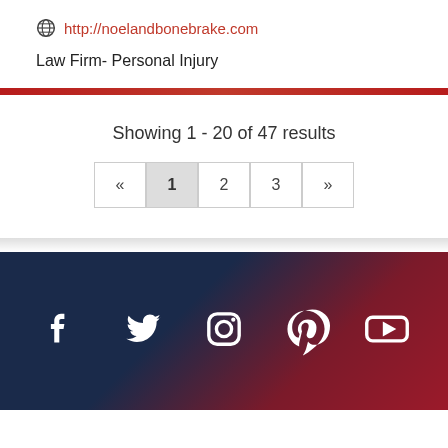http://noelandbonebrake.com
Law Firm- Personal Injury
Showing 1 - 20 of 47 results
[Figure (other): Pagination bar with buttons: «, 1 (active), 2, 3, »]
[Figure (other): Footer bar with social media icons: Facebook, Twitter, Instagram, Pinterest, YouTube]